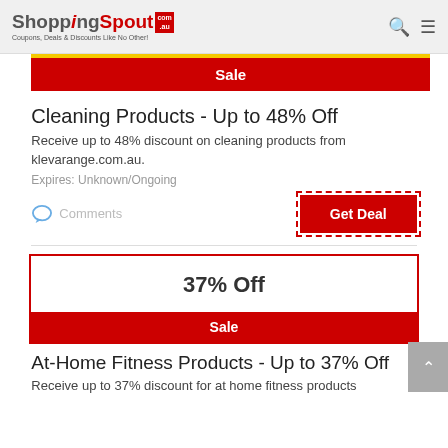ShoppingSpout.com.au — Coupons, Deals & Discounts Like No Other!
Sale
Cleaning Products - Up to 48% Off
Receive up to 48% discount on cleaning products from klevarange.com.au.
Expires: Unknown/Ongoing
Comments | Get Deal
37% Off
Sale
At-Home Fitness Products - Up to 37% Off
Receive up to 37% discount for at home fitness products